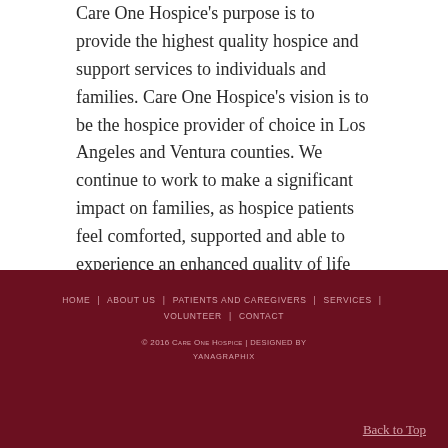Care One Hospice's purpose is to provide the highest quality hospice and support services to individuals and families. Care One Hospice's vision is to be the hospice provider of choice in Los Angeles and Ventura counties. We continue to work to make a significant impact on families, as hospice patients feel comforted, supported and able to experience an enhanced quality of life surrounded by those they love.
HOME | ABOUT US | PATIENTS AND CAREGIVERS | SERVICES | VOLUNTEER | CONTACT
© 2016 Care One Hospice | designed by yanagraphix
Back to Top